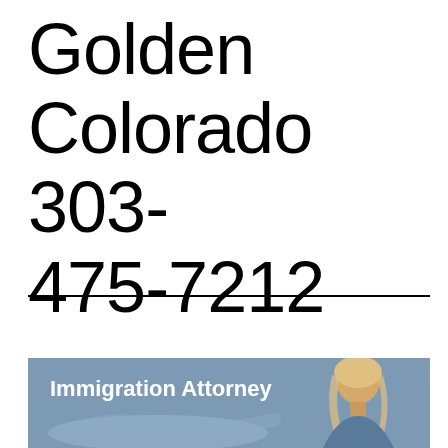Golden Colorado 303-475-7212
[Figure (photo): Immigration Attorney promotional image with a blonde woman and a map silhouette on a blue-grey background, with text 'Immigration Attorney']